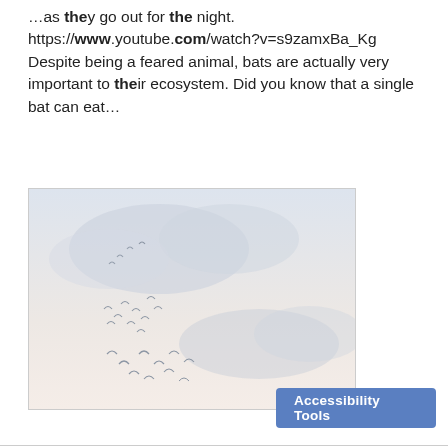…as they go out for the night. https://www.youtube.com/watch?v=s9zamxBa_Kg Despite being a feared animal, bats are actually very important to their ecosystem. Did you know that a single bat can eat…
[Figure (photo): A pale, hazy sky with scattered birds flying, soft clouds in the background, muted pinkish-white tones]
Accessibility Tools